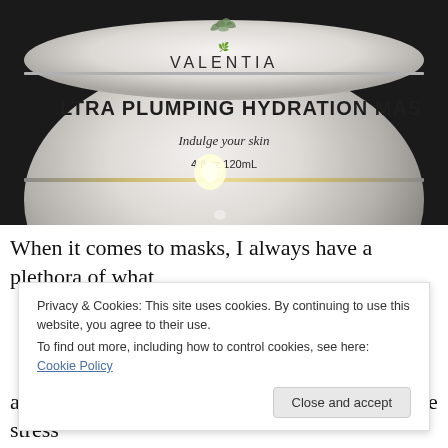[Figure (photo): Close-up photo of a white jar of Valentia Ultra Plumping Hydration Mask. The white jar has the brand name VALENTIA with a leaf logo at the top, product name ULTRA PLUMPING HYDRATION MASK in large text, tagline 'Indulge your skin', and size '4 fl oz / 120mL'. The jar has a gold/silver decorative band. A bright light glare is visible on the jar.]
When it comes to masks, I always have a plethora of what
Privacy & Cookies: This site uses cookies. By continuing to use this website, you agree to their use.
To find out more, including how to control cookies, see here: Cookie Policy
around my nose, they sometimes will exhibit the stress